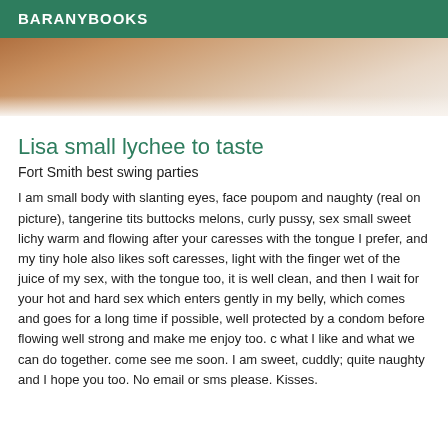BARANYBOOKS
[Figure (photo): Close-up photo of a person lying down, partial view of skin and white fabric/bedding]
Lisa small lychee to taste
Fort Smith best swing parties
I am small body with slanting eyes, face poupom and naughty (real on picture), tangerine tits buttocks melons, curly pussy, sex small sweet lichy warm and flowing after your caresses with the tongue I prefer, and my tiny hole also likes soft caresses, light with the finger wet of the juice of my sex, with the tongue too, it is well clean, and then I wait for your hot and hard sex which enters gently in my belly, which comes and goes for a long time if possible, well protected by a condom before flowing well strong and make me enjoy too. c what I like and what we can do together. come see me soon. I am sweet, cuddly; quite naughty and I hope you too. No email or sms please. Kisses.